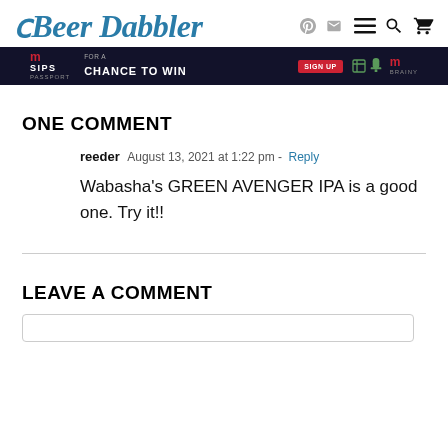Beer Dabbler
[Figure (screenshot): Advertisement banner with dark blue background showing 'm SIPS PASSPORT FOR A CHANCE TO WIN SIGN UP' with cocktail glass icons]
ONE COMMENT
reeder  August 13, 2021 at 1:22 pm - Reply
Wabasha's GREEN AVENGER IPA is a good one. Try it!!
LEAVE A COMMENT